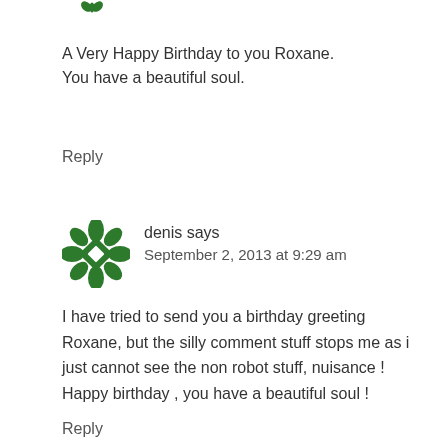[Figure (illustration): Partial green decorative avatar icon, cropped at top]
A Very Happy Birthday to you Roxane.
You have a beautiful soul.
Reply
[Figure (illustration): Green decorative snowflake/diamond pattern avatar icon for user 'denis']
denis says
September 2, 2013 at 9:29 am
I have tried to send you a birthday greeting Roxane, but the silly comment stuff stops me as i just cannot see the non robot stuff, nuisance ! Happy birthday , you have a beautiful soul !
Reply